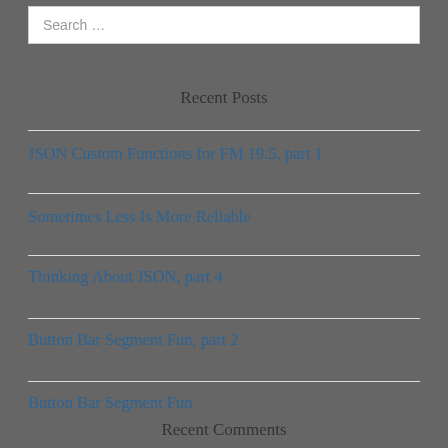Search …
Recent Posts
JSON Custom Functions for FM 19.5, part 1
Sometimes Less Is More Reliable
Thinking About JSON, part 4
Button Bar Segment Fun, part 2
Button Bar Segment Fun
Recent Comments